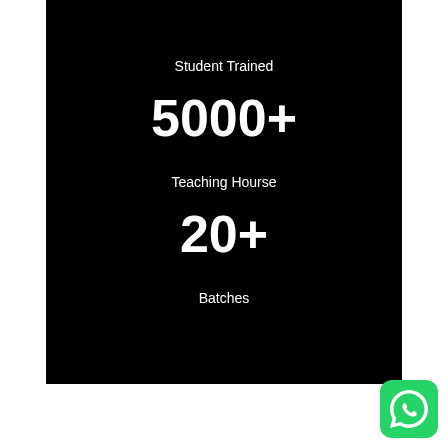Student Trained
5000+
Teaching Hourse
20+
Batches